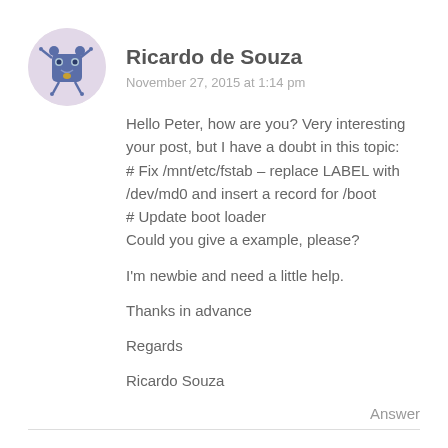[Figure (illustration): Circular avatar with a cartoon blue monster/creature illustration on light purple background]
Ricardo de Souza
November 27, 2015 at 1:14 pm
Hello Peter, how are you? Very interesting your post, but I have a doubt in this topic:
# Fix /mnt/etc/fstab – replace LABEL with /dev/md0 and insert a record for /boot
# Update boot loader
Could you give a example, please?
I'm newbie and need a little help.
Thanks in advance
Regards
Ricardo Souza
Answer